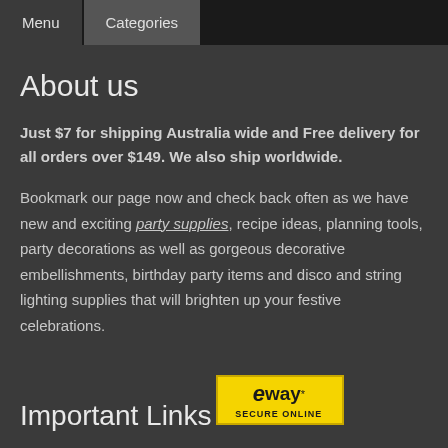Menu   Categories
About us
Just $7 for shipping Australia wide and Free delivery for all orders over $149. We also ship worldwide.
Bookmark our page now and check back often as we have new and exciting party supplies, recipe ideas, planning tools, party decorations as well as gorgeous decorative embellishments, birthday party items and disco and string lighting supplies that will brighten up your festive celebrations.
Important Links
[Figure (logo): eWAY Secure Online payment badge with yellow background]